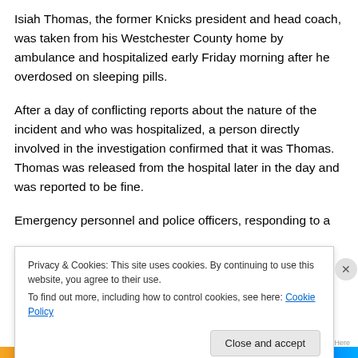Isiah Thomas, the former Knicks president and head coach, was taken from his Westchester County home by ambulance and hospitalized early Friday morning after he overdosed on sleeping pills.
After a day of conflicting reports about the nature of the incident and who was hospitalized, a person directly involved in the investigation confirmed that it was Thomas. Thomas was released from the hospital later in the day and was reported to be fine.
Emergency personnel and police officers, responding to a
Privacy & Cookies: This site uses cookies. By continuing to use this website, you agree to their use.
To find out more, including how to control cookies, see here: Cookie Policy